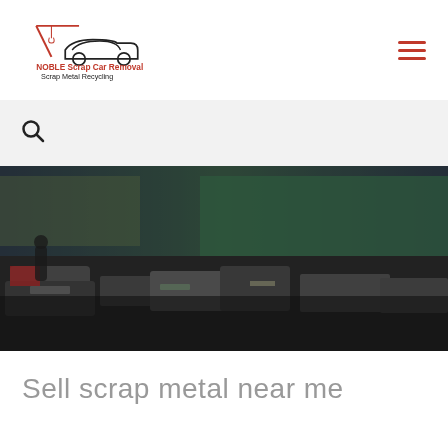[Figure (logo): Noble Scrap Car Removal Scrap Metal Recycling logo with tow truck crane graphic in red and black]
[Figure (other): Hamburger menu icon with three horizontal red lines]
[Figure (other): Search bar with magnifying glass icon on light grey background]
[Figure (photo): Hero photo of a scrap metal yard with various vehicles and metal scraps, dark tones with green trees in background]
Sell scrap metal near me